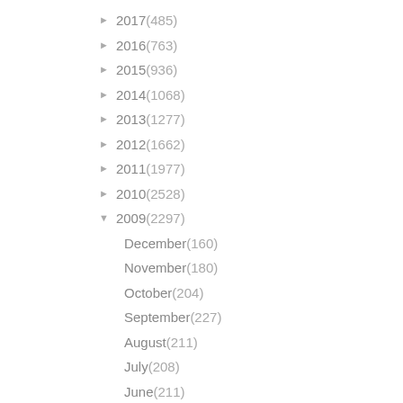► 2017 (485)
► 2016 (763)
► 2015 (936)
► 2014 (1068)
► 2013 (1277)
► 2012 (1662)
► 2011 (1977)
► 2010 (2528)
▼ 2009 (2297)
December (160)
November (180)
October (204)
September (227)
August (211)
July (208)
June (211)
May (181)
April (216)
March (188)